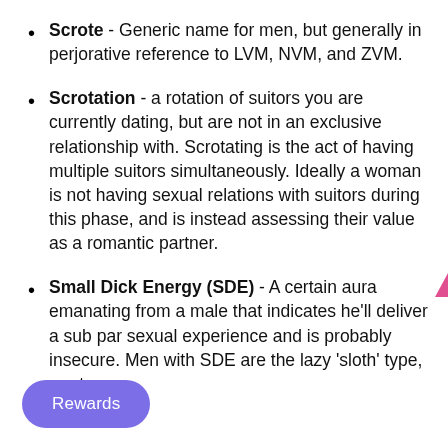Scrote - Generic name for men, but generally in perjorative reference to LVM, NVM, and ZVM.
Scrotation - a rotation of suitors you are currently dating, but are not in an exclusive relationship with. Scrotating is the act of having multiple suitors simultaneously. Ideally a woman is not having sexual relations with suitors during this phase, and is instead assessing their value as a romantic partner.
Small Dick Energy (SDE) - A certain aura emanating from a male that indicates he'll deliver a sub par sexual experience and is probably insecure. Men with SDE are the lazy 'sloth' type, are too...